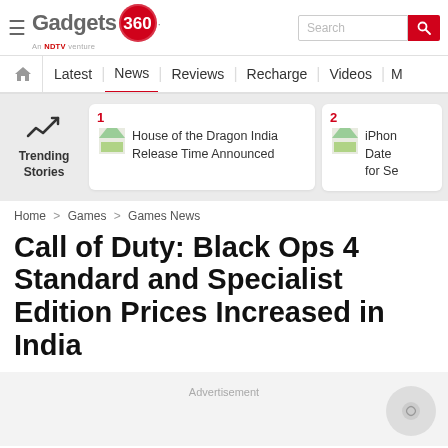Gadgets 360 — An NDTV venture
[Figure (logo): Gadgets 360 logo with red circle badge, NDTV venture tagline, and search bar with red search button]
[Figure (screenshot): Navigation bar with home icon, Latest, News (active with red underline), Reviews, Recharge, Videos, M...]
[Figure (infographic): Trending Stories section with trending arrow icon, card 1: House of the Dragon India Release Time Announced, card 2: iPhone... Date... for Se...]
Home > Games > Games News
Call of Duty: Black Ops 4 Standard and Specialist Edition Prices Increased in India
Advertisement